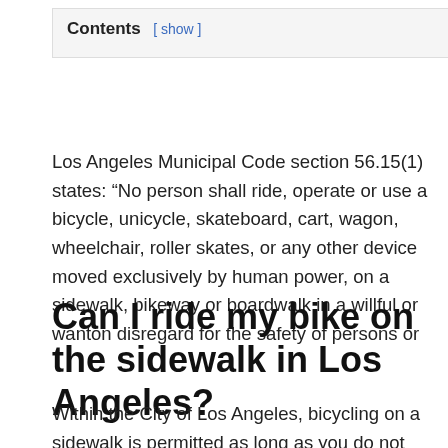Contents [ show ]
Los Angeles Municipal Code section 56.15(1) states: “No person shall ride, operate or use a bicycle, unicycle, skateboard, cart, wagon, wheelchair, roller skates, or any other device moved exclusively by human power, on a sidewalk, bikeway or boardwalk in a willful or wanton disregard for the safety of persons or …
Can I ride my bike on the sidewalk in Los Angeles?
Within the City of Los Angeles, bicycling on a sidewalk is permitted as long as you do not